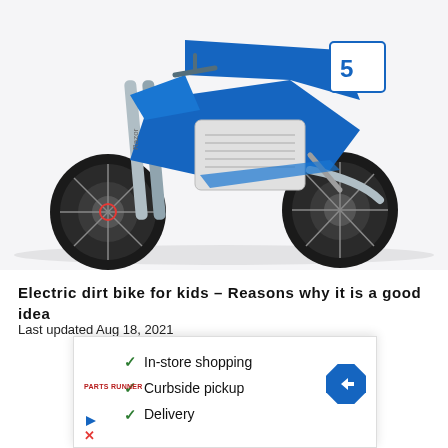[Figure (photo): Blue Razor electric dirt bike for kids, shown from the side with front fork, tires, and silver body panel visible]
Electric dirt bike for kids – Reasons why it is a good idea
Last updated Aug 18, 2021
[Figure (screenshot): Indeed job hiring advertisement banner with blue diagonal graphic element and 'Indeed Hiring' text]
[Figure (screenshot): Bottom popup ad showing checkmarks for In-store shopping, Curbside pickup, Delivery with navigation arrow and store logo]